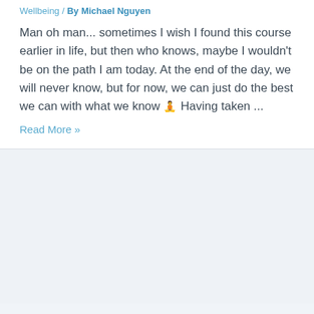Wellbeing / By Michael Nguyen
Man oh man... sometimes I wish I found this course earlier in life, but then who knows, maybe I wouldn't be on the path I am today. At the end of the day, we will never know, but for now, we can just do the best we can with what we know 🧘 Having taken ...
Read More »